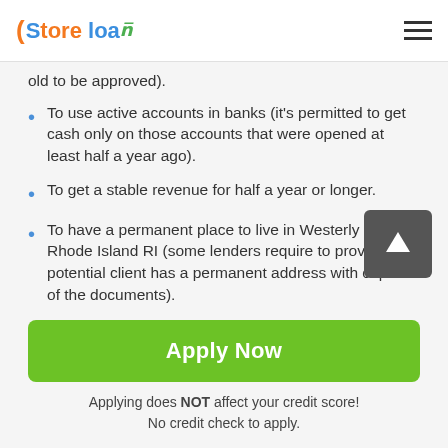Store loan
old to be approved).
To use active accounts in banks (it's permitted to get cash only on those accounts that were opened at least half a year ago).
To get a stable revenue for half a year or longer.
To have a permanent place to live in Westerly of Rhode Island RI (some lenders require to prove that a potential client has a permanent address with copies of the documents).
It's impossible to get approval for auto title loans in
Apply Now
Applying does NOT affect your credit score!
No credit check to apply.